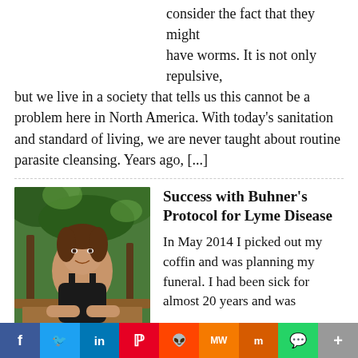consider the fact that they might have worms. It is not only repulsive, but we live in a society that tells us this cannot be a problem here in North America. With today's sanitation and standard of living, we are never taught about routine parasite cleansing. Years ago, [...]
Success with Buhner's Protocol for Lyme Disease
[Figure (photo): Woman smiling, seated outdoors in a tropical/garden setting with green foliage in background]
In May 2014 I picked out my coffin and was planning my funeral. I had been sick for almost 20 years and was also battling a serious kidney infection on top of the
f  Twitter  in  Pinterest  Reddit  MW  Mix  WhatsApp  +